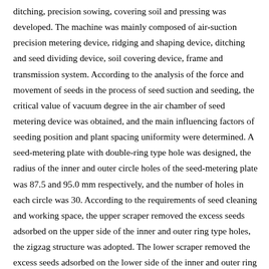ditching, precision sowing, covering soil and pressing was developed. The machine was mainly composed of air-suction precision metering device, ridging and shaping device, ditching and seed dividing device, soil covering device, frame and transmission system. According to the analysis of the force and movement of seeds in the process of seed suction and seeding, the critical value of vacuum degree in the air chamber of seed metering device was obtained, and the main influencing factors of seeding position and plant spacing uniformity were determined. A seed-metering plate with double-ring type hole was designed, the radius of the inner and outer circle holes of the seed-metering plate was 87.5 and 95.0 mm respectively, and the number of holes in each circle was 30. According to the requirements of seed cleaning and working space, the upper scraper removed the excess seeds adsorbed on the upper side of the inner and outer ring type holes, the zigzag structure was adopted. The lower scraper removed the excess seeds adsorbed on the lower side of the inner and outer ring type holes, and the eccentric structure was used. According to planting agronomic requirements, the FL-2.5 fan was determined to meet the requirements of different sowing air volume. Three double-wing ridging plows were used